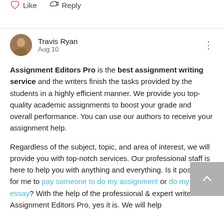[Figure (other): Like and Reply action buttons with heart and reply icons]
Travis Ryan
Aug 10
Assignment Editors Pro is the best assignment writing service and the writers finish the tasks provided by the students in a highly efficient manner. We provide you top-quality academic assignments to boost your grade and overall performance. You can use our authors to receive your assignment help.

Regardless of the subject, topic, and area of interest, we will provide you with top-notch services. Our professional staff is here to help you with anything and everything. Is it possible for me to pay someone to do my assignment or do my essay? With the help of the professional & expert writers at Assignment Editors Pro, yes it is. We will help